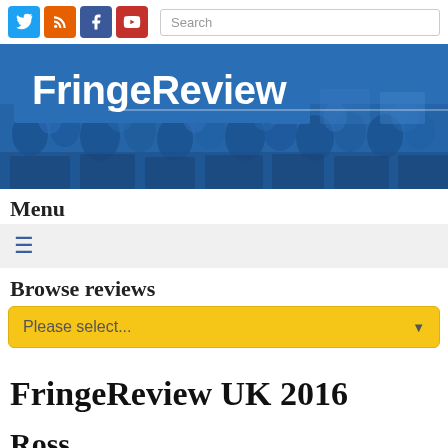[Figure (screenshot): Website header with social media icons (Twitter, RSS, Facebook, YouTube) and search box]
[Figure (photo): FringeReview website banner with blue-tinted crowd photo and FringeReview logo in white text on blue background]
Menu
[Figure (other): Hamburger menu icon (three horizontal lines) on grey background]
Browse reviews
[Figure (other): Yellow dropdown select box with text 'Please select...' and down arrow]
FringeReview UK 2016
Ross